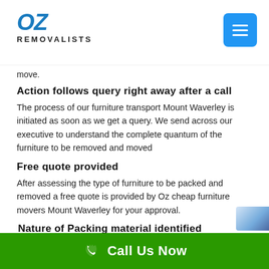OZ REMOVALISTS
move.
Action follows query right away after a call
The process of our furniture transport Mount Waverley is initiated as soon as we get a query. We send across our executive to understand the complete quantum of the furniture to be removed and moved
Free quote provided
After assessing the type of furniture to be packed and removed a free quote is provided by Oz cheap furniture movers Mount Waverley for your approval.
Nature of Packing material identified
Once the nature of the packing material is identified the pa
Call Us Now